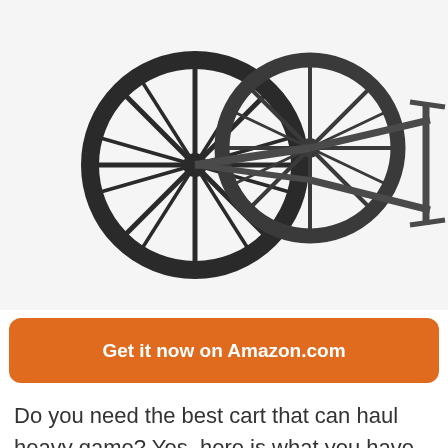[Figure (photo): A metal two-wheeled game cart/hauling cart with large black spoked wheels and a frame with extended arms, shown on a white background.]
Get it now on Amazon.com
Do you need the best cart that can haul heavy game? Yes, here is what you have been missing. Furthermore, the product has a solid construction to let you to haul your goodies weighing up to 500 lbs. the stuff is the best choice for hailing deer, hunting gear, tree stands and much more. Moreover,